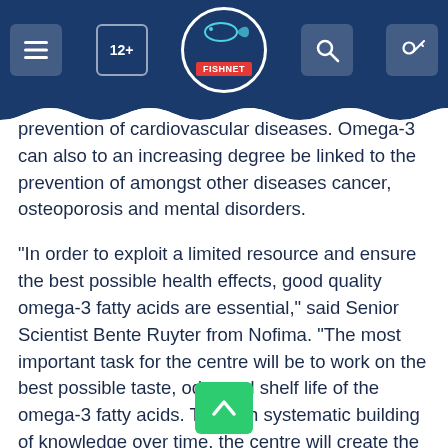FISHNET
prevention of cardiovascular diseases. Omega-3 can also to an increasing degree be linked to the prevention of amongst other diseases cancer, osteoporosis and mental disorders.
"In order to exploit a limited resource and ensure the best possible health effects, good quality omega-3 fatty acids are essential," said Senior Scientist Bente Ruyter from Nofima. "The most important task for the centre will be to work on the best possible taste, odor and shelf life of the omega-3 fatty acids. Through systematic building of knowledge over time, the centre will create the basis for the development of new and innovative products based on omega-3.
Norway is already one of the world's leading producers of omega-3 ingredients. From being something you primarily ingested by consuming seafood, omega-3 is to an increasing extent b[...] troduced through dietary supplements, pha[...] utical products and